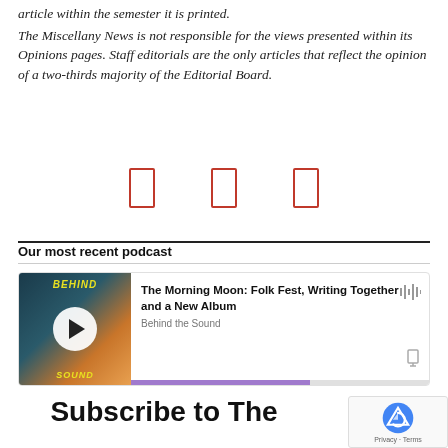article within the semester it is printed. The Miscellany News is not responsible for the views presented within its Opinions pages. Staff editorials are the only articles that reflect the opinion of a two-thirds majority of the Editorial Board.
[Figure (other): Three small red-bordered rectangle icons in a row, representing social media or sharing icons]
Our most recent podcast
[Figure (screenshot): Podcast player widget showing 'The Morning Moon: Folk Fest, Writing Together and a New Album' by Behind the Sound, with album art for 'Behind the Sound' podcast and a purple progress bar]
Subscribe to The